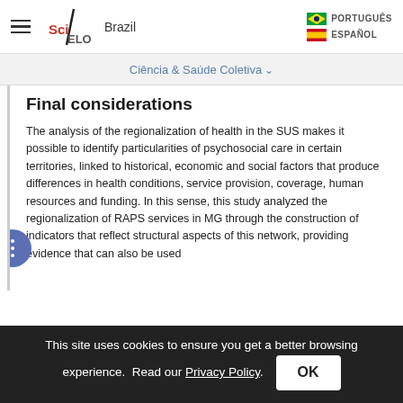SciELO Brazil | Ciência & Saúde Coletiva
Final considerations
The analysis of the regionalization of health in the SUS makes it possible to identify particularities of psychosocial care in certain territories, linked to historical, economic and social factors that produce differences in health conditions, service provision, coverage, human resources and funding. In this sense, this study analyzed the regionalization of RAPS services in MG through the construction of indicators that reflect structural aspects of this network, providing evidence that can also be used
This site uses cookies to ensure you get a better browsing experience. Read our Privacy Policy.